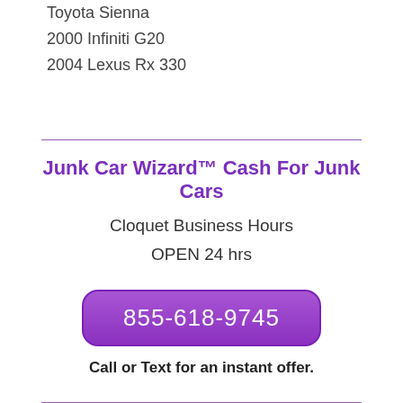Toyota Sienna
2000 Infiniti G20
2004 Lexus Rx 330
Junk Car Wizard™ Cash For Junk Cars
Cloquet Business Hours
OPEN 24 hrs
855-618-9745
Call or Text for an instant offer.